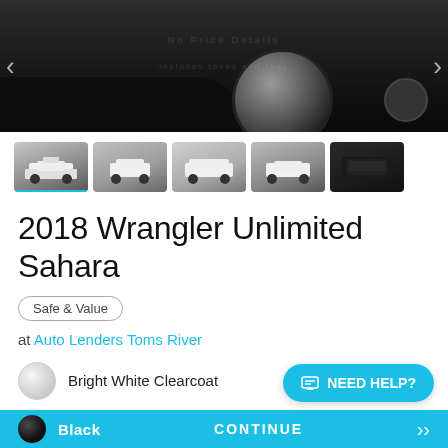[Figure (photo): Main large photo of a white Jeep Wrangler Unlimited Sahara, showing the front bumper and wheel area from a low angle, dark studio background with navigation arrows on left and right sides]
[Figure (photo): Row of 5 thumbnail images of the white Jeep Wrangler from various angles; first thumbnail is selected (highlighted with blue underline). Thumbnails show: front-left view, front view, side view, rear-left view, and interior/cargo area.]
2018 Wrangler Unlimited Sahara
Safe & Value
at Auto Lenders Toms River
Bright White Clearcoat
Black